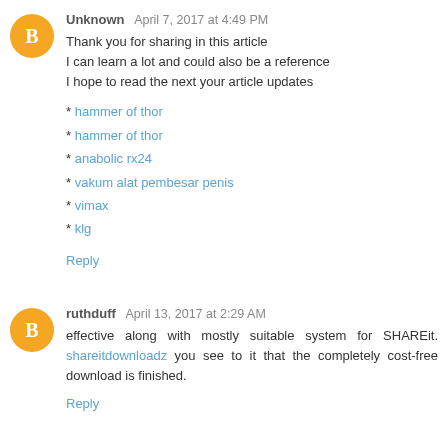Unknown April 7, 2017 at 4:49 PM
Thank you for sharing in this article
I can learn a lot and could also be a reference
I hope to read the next your article updates
* hammer of thor
* hammer of thor
* anabolic rx24
* vakum alat pembesar penis
* vimax
* klg
Reply
ruthduff April 13, 2017 at 2:29 AM
effective along with mostly suitable system for SHAREit. shareitdownloadz you see to it that the completely cost-free download is finished.
Reply